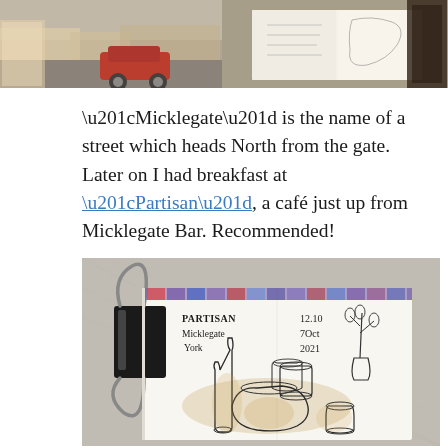[Figure (photo): Two photos side by side: left shows sketches/artwork with a street scene and a red car; right shows a sketchbook being held open with urban sketches inside.]
“Micklegate” is the name of a street which heads North from the gate. Later on I had breakfast at “Partisan”, a café just up from Micklegate Bar. Recommended!
[Figure (photo): Photograph of an open sketchbook held with a binder clip, showing a pen and ink sketch with watercolor wash of breakfast items (bottles, bowls, cups, vase with flowers) on a cafe table. The sketch is labeled: PARTISAN / Micklegate / York and dated 12.10 / 7Oct / 2021.]